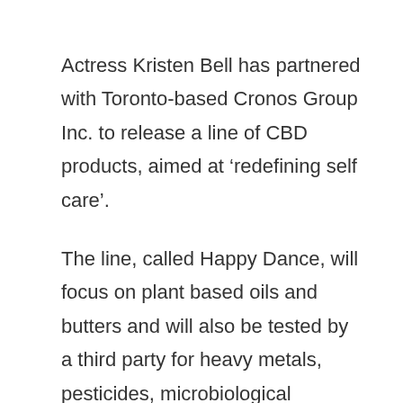Actress Kristen Bell has partnered with Toronto-based Cronos Group Inc. to release a line of CBD products, aimed at ‘redefining self care’.
The line, called Happy Dance, will focus on plant based oils and butters and will also be tested by a third party for heavy metals, pesticides, microbiological contaminants, etc.
Launching with bath and body products created using full spectrum hemp extract, 1% of the profits will also be donated to A New Way of Life Re-Entry Project, a